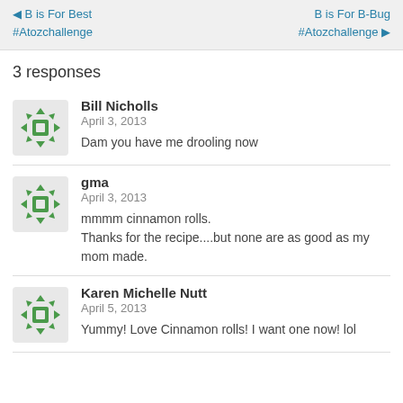◀ B is For Best #Atozchallenge   B is For B-Bug #Atozchallenge ▶
3 responses
Bill Nicholls
April 3, 2013
Dam you have me drooling now
gma
April 3, 2013
mmmm cinnamon rolls.
Thanks for the recipe....but none are as good as my mom made.
Karen Michelle Nutt
April 5, 2013
Yummy! Love Cinnamon rolls! I want one now! lol